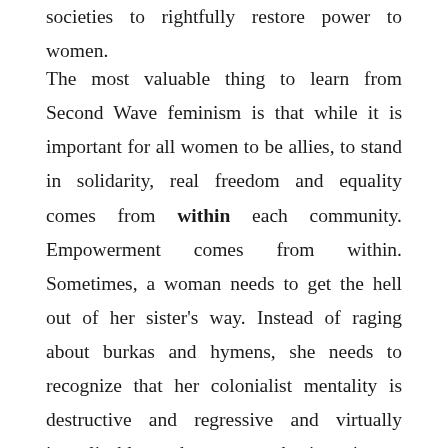societies to rightfully restore power to women.
The most valuable thing to learn from Second Wave feminism is that while it is important for all women to be allies, to stand in solidarity, real freedom and equality comes from within each community. Empowerment comes from within. Sometimes, a woman needs to get the hell out of her sister's way. Instead of raging about burkas and hymens, she needs to recognize that her colonialist mentality is destructive and regressive and virtually inapplicable to the women she is trying to liberate. She needs to realize that they don't need her help. She needs to understand that there are things she doesn't, that what she knows as the exercise of freedom is evolved from